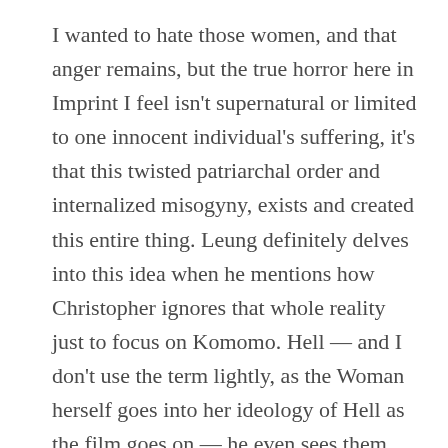I wanted to hate those women, and that anger remains, but the true horror here in Imprint I feel isn't supernatural or limited to one innocent individual's suffering, it's that this twisted patriarchal order and internalized misogyny, exists and created this entire thing. Leung definitely delves into this idea when he mentions how Christopher ignores that whole reality just to focus on Komomo. Hell — and I don't use the term lightly, as the Woman herself goes into her ideology of Hell as the film goes on — he even sees them suffering, behind those bars, ravenous and desperate, and when he sees the dead pregnant woman float by. In the screenplay, he doesn't even acknowledge the corpse while the labourers pour sake into the